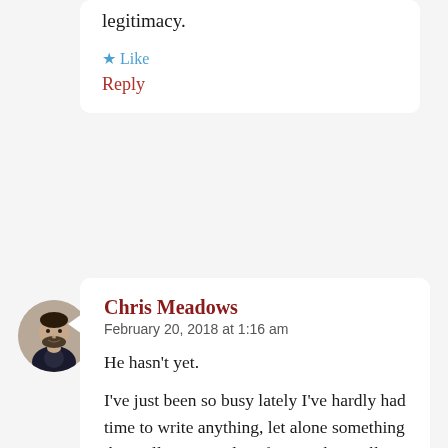legitimacy.
★ Like
Reply
[Figure (photo): Circular avatar photo of Chris Meadows, a man with a beard wearing a dark jacket]
Chris Meadows
February 20, 2018 at 1:16 am
He hasn't yet.

I've just been so busy lately I've hardly had time to write anything, let alone something that will require a lot of research. I will get around to it.